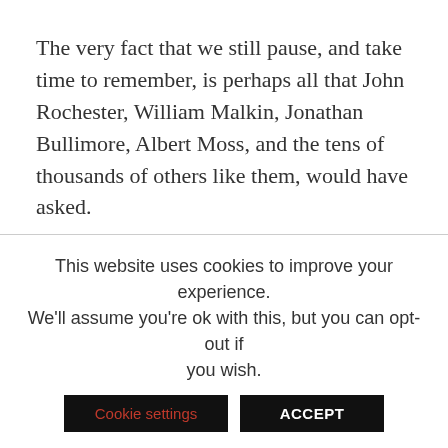The very fact that we still pause, and take time to remember, is perhaps all that John Rochester, William Malkin, Jonathan Bullimore, Albert Moss, and the tens of thousands of others like them, would have asked.
This website uses cookies to improve your experience. We'll assume you're ok with this, but you can opt-out if you wish. Cookie settings ACCEPT